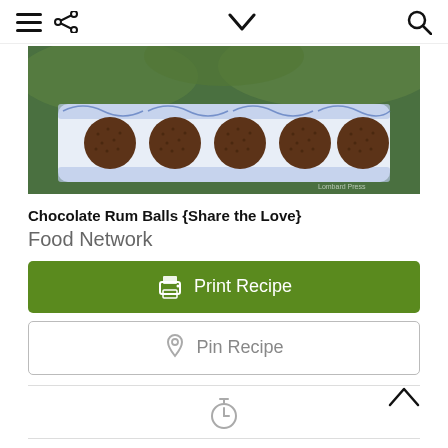menu, share, chevron-down, search icons
[Figure (photo): Five chocolate rum balls coated in chocolate sprinkles arranged on a white decorative rectangular plate with blue floral pattern, set against a green background.]
Chocolate Rum Balls {Share the Love}
Food Network
Print Recipe
Pin Recipe
[Figure (other): Timer/clock icon centered between horizontal lines]
[Figure (other): Chef hat with utensils icon centered between horizontal lines]